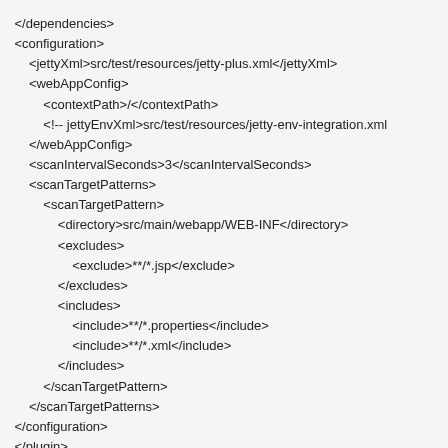</dependencies>
<configuration>
    <jettyXml>src/test/resources/jetty-plus.xml</jettyXml>
    <webAppConfig>
        <contextPath>/</contextPath>
        <!-- jettyEnvXml>src/test/resources/jetty-env-integration.xml
    </webAppConfig>
    <scanIntervalSeconds>3</scanIntervalSeconds>
    <scanTargetPatterns>
        <scanTargetPattern>
            <directory>src/main/webapp/WEB-INF</directory>
            <excludes>
                <exclude>**/*.jsp</exclude>
            </excludes>
            <includes>
                <include>**/*.properties</include>
                <include>**/*.xml</include>
            </includes>
        </scanTargetPattern>
    </scanTargetPatterns>
</configuration>
</plugin>